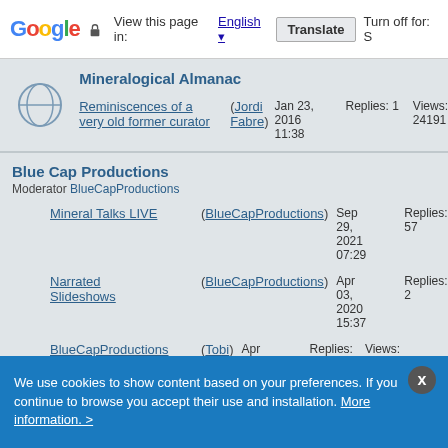Google | View this page in: English | Translate | Turn off for: S
Mineralogical Almanac
Reminiscences of a very old former curator (Jordi Fabre) Jan 23, 2016 11:38 Replies: 1 Views: 24191
Blue Cap Productions
Moderator BlueCapProductions
Mineral Talks LIVE (BlueCapProductions) Sep 29, 2021 07:29 Replies: 57 Views: 31398
Narrated Slideshows (BlueCapProductions) Apr 03, 2020 15:37 Replies: 2 Views: 16768
BlueCapProductions releases full videos for free on Youtube (Tobi) Apr 03, 2020 15:34 Replies: 5 Views: 15252
Jordi's Munich 2018 booth on Blue Cap Productions (Tobi) Mar 23, 2020 Replies: 2 Views: 26439
We use cookies to show content based on your preferences. If you continue to browse you accept their use and installation. More information. >